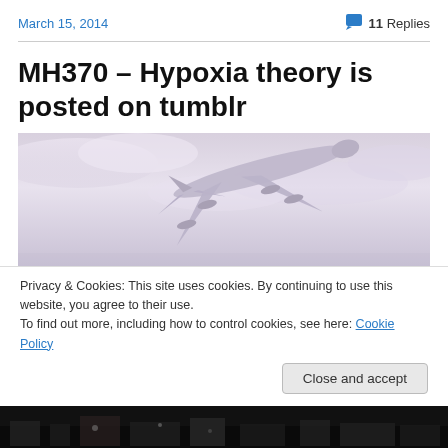March 15, 2014   💬 11 Replies
MH370 – Hypoxia theory is posted on tumblr
[Figure (photo): Airplane taking off against a light purple/grey cloudy sky, viewed from below and behind]
Privacy & Cookies: This site uses cookies. By continuing to use this website, you agree to their use.
To find out more, including how to control cookies, see here: Cookie Policy
Close and accept
[Figure (photo): Dark strip at the bottom showing a crowd scene, partially visible]